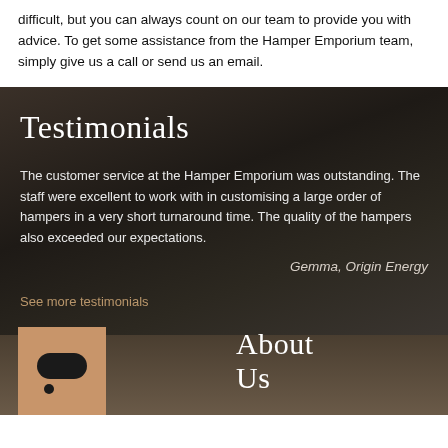difficult, but you can always count on our team to provide you with advice. To get some assistance from the Hamper Emporium team, simply give us a call or send us an email.
Testimonials
The customer service at the Hamper Emporium was outstanding. The staff were excellent to work with in customising a large order of hampers in a very short turnaround time. The quality of the hampers also exceeded our expectations.
Gemma, Origin Energy
See more testimonials
[Figure (logo): Hamper Emporium logo — tan/brown square with dark rounded pill shape and dot]
About Us